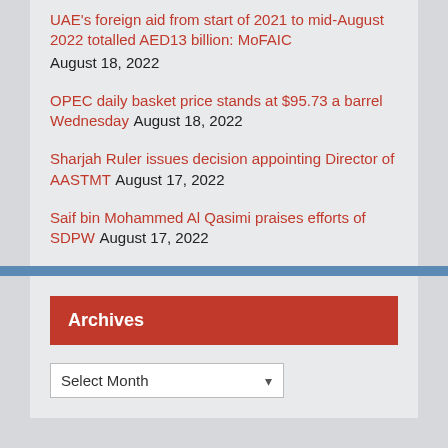UAE's foreign aid from start of 2021 to mid-August 2022 totalled AED13 billion: MoFAIC August 18, 2022
OPEC daily basket price stands at $95.73 a barrel Wednesday August 18, 2022
Sharjah Ruler issues decision appointing Director of AASTMT August 17, 2022
Saif bin Mohammed Al Qasimi praises efforts of SDPW August 17, 2022
Archives
Select Month